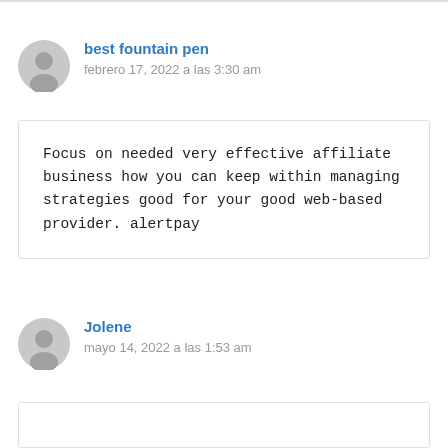best fountain pen
febrero 17, 2022 a las 3:30 am
Focus on needed very effective affiliate business how you can keep within managing strategies good for your good web-based provider. alertpay
Jolene
mayo 14, 2022 a las 1:53 am